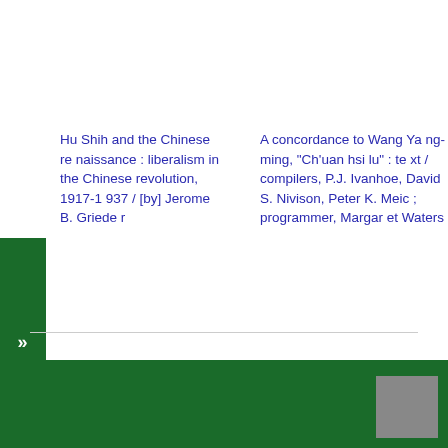Hu Shih and the Chinese renaissance : liberalism in the Chinese revolution, 1917-1937 / [by] Jerome B. Grieder
A concordance to Wang Yang-ming, "Ch'uan hsi lu" : text / compilers, P.J. Ivanhoe, David S. Nivison, Peter K. Meic ; programmer, Margaret Waters